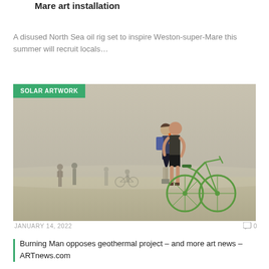Mare art installation
A disused North Sea oil rig set to inspire Weston-super-Mare this summer will recruit locals…
[Figure (photo): People at Burning Man festival in a dusty/misty desert landscape; a couple embracing next to a green bicycle in the foreground, several people and a cyclist visible in the background. A green 'SOLAR ARTWORK' badge overlays the top-left corner.]
JANUARY 14, 2022
0
Burning Man opposes geothermal project – and more art news – ARTnews.com